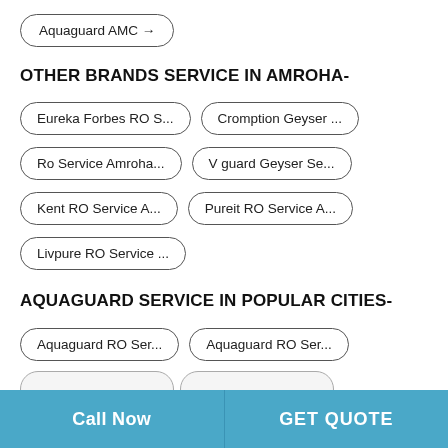Aquaguard AMC →
OTHER BRANDS SERVICE IN AMROHA-
Eureka Forbes RO S...
Cromption Geyser ...
Ro Service Amroha...
V guard Geyser Se...
Kent RO Service A...
Pureit RO Service A...
Livpure RO Service ...
AQUAGUARD SERVICE IN POPULAR CITIES-
Aquaguard RO Ser...
Aquaguard RO Ser...
Call Now | GET QUOTE